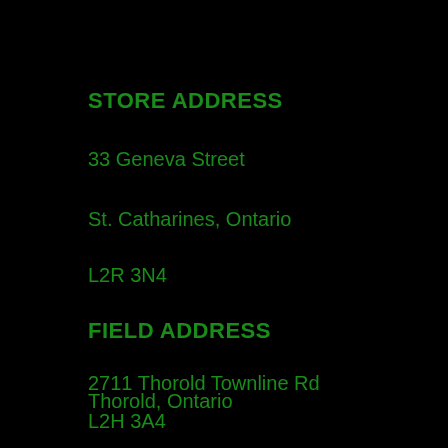STORE ADDRESS
33 Geneva Street
St. Catharines, Ontario
L2R 3N4
FIELD ADDRESS
2711 Thorold Townline Rd
Thorold, Ontario
L2H 3A4